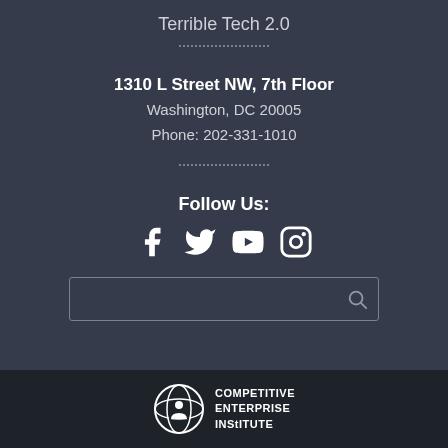Terrible Tech 2.0
1310 L Street NW, 7th Floor
Washington, DC 20005
Phone: 202-331-1010
Follow Us:
[Figure (logo): Social media icons: Facebook, Twitter, YouTube, Instagram]
[Figure (other): Search box with magnifying glass icon]
[Figure (logo): Competitive Enterprise Institute logo with globe icon and text]